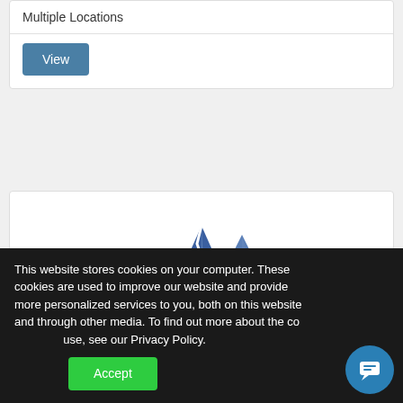Multiple Locations
View
[Figure (logo): AnalyticSherpa logo with mountain peaks in blue and text 'AnalyticSherpA']
This website stores cookies on your computer. These cookies are used to improve our website and provide more personalized services to you, both on this website and through other media. To find out more about the cookies we use, see our Privacy Policy.
Accept